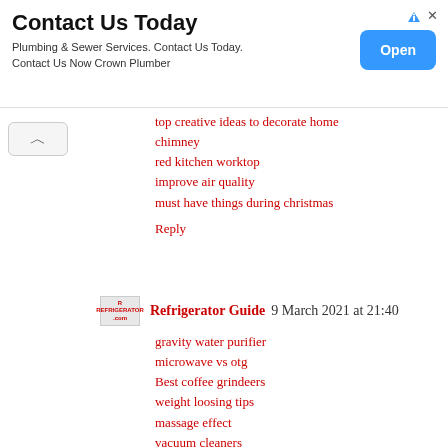[Figure (other): Advertisement banner: Contact Us Today - Plumbing & Sewer Services with Open button]
top creative ideas to decorate home
chimney
red kitchen worktop
improve air quality
must have things during christmas
Reply
Refrigerator Guide  9 March 2021 at 21:40
gravity water purifier
microwave vs otg
Best coffee grindeers
weight loosing tips
massage effect
vacuum cleaners